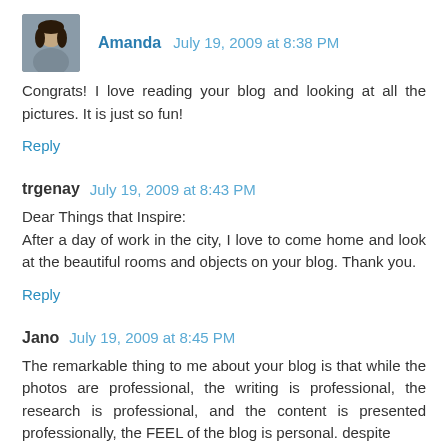[Figure (photo): Small square avatar photo of Amanda, a woman with dark hair]
Amanda July 19, 2009 at 8:38 PM
Congrats! I love reading your blog and looking at all the pictures. It is just so fun!
Reply
trgenay July 19, 2009 at 8:43 PM
Dear Things that Inspire:
After a day of work in the city, I love to come home and look at the beautiful rooms and objects on your blog. Thank you.
Reply
Jano July 19, 2009 at 8:45 PM
The remarkable thing to me about your blog is that while the photos are professional, the writing is professional, the research is professional, and the content is presented professionally, the FEEL of the blog is personal. despite